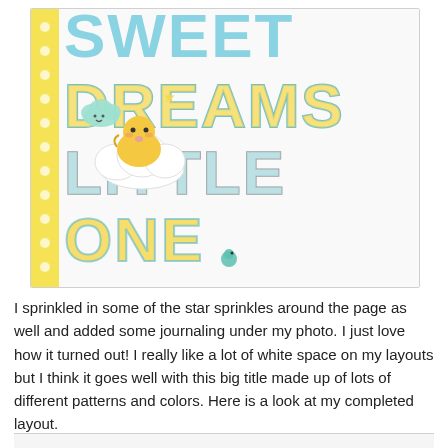[Figure (photo): Close-up photo of a scrapbook layout featuring large colorful letters spelling 'SWEET DREAMS LITTLE ONE' in blue, yellow, and teal, with cute cloud and sun character stickers, small star accents, and a yellow polka-dot patterned strip on the left side, all on a white background.]
I sprinkled in some of the star sprinkles around the page as well and added some journaling under my photo. I just love how it turned out! I really like a lot of white space on my layouts but I think it goes well with this big title made up of lots of different patterns and colors. Here is a look at my completed layout.